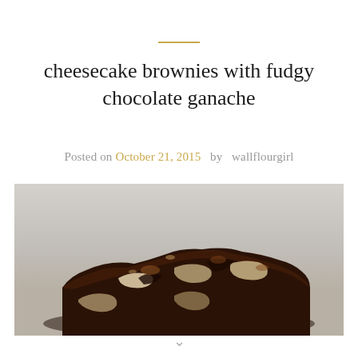cheesecake brownies with fudgy chocolate ganache
Posted on October 21, 2015  by  wallflourgirl
[Figure (photo): Close-up photo of a cheesecake brownie with fudgy chocolate ganache, showing swirls of chocolate and cream cheese layers, shot against a light grey background.]